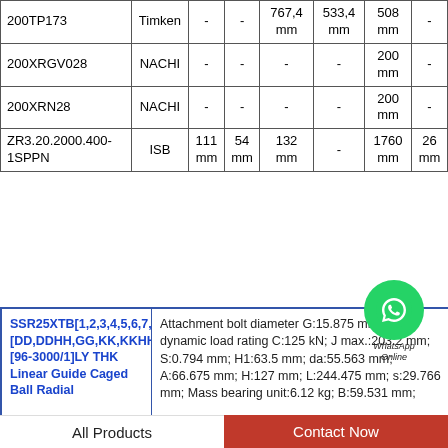| Part Number | Brand | Col3 | Col4 | Col5 | Col6 | Col7 | Col8 |
| --- | --- | --- | --- | --- | --- | --- | --- |
| 200TP173 | Timken | - | - | 767.4 mm | 533.4 mm | 508 mm | - |
| 200XRGV028 | NACHI | - | - | - | - | 200 mm | - |
| 200XRN28 | NACHI | - | - | - | - | 200 mm | - |
| ZR3.20.2000.400-1SPPN | ISB | 111 mm | 54 mm | 132 mm | - | 1760 mm | 26 mm |
[Figure (other): WhatsApp Online chat badge/button (green circle with phone icon, labeled WhatsApp Online)]
SSR25XTB[1,2,3,4,5,6,7,8,9][DD,DDHH,GG,KK,KKHH,PP,SS,SSHH,UU,ZZ,ZZHH]+[96-3000/1]LY THK Linear Guide Caged Ball Radial
Attachment bolt diameter G:15.875 mm; Basic dynamic load rating C:125 kN; J max.:203.2 mm; S:0.794 mm; H1:63.5 mm; da:55.563 mm; A:66.675 mm; H:127 mm; L:244.475 mm; s:29.766 mm; Mass bearing unit:6.12 kg; B:59.531 mm;
All Products   Contact Now